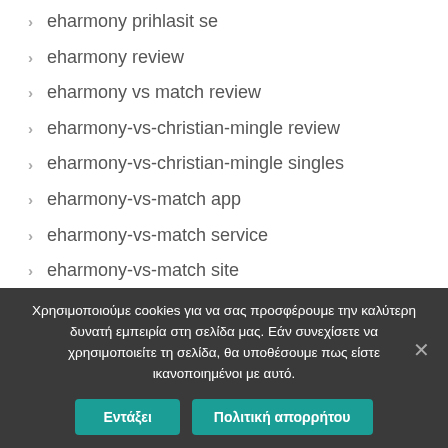eharmony prihlasit se
eharmony review
eharmony vs match review
eharmony-vs-christian-mingle review
eharmony-vs-christian-mingle singles
eharmony-vs-match app
eharmony-vs-match service
eharmony-vs-match site
Χρησιμοποιούμε cookies για να σας προσφέρουμε την καλύτερη δυνατή εμπειρία στη σελίδα μας. Εάν συνεχίσετε να χρησιμοποιείτε τη σελίδα, θα υποθέσουμε πως είστε ικανοποιημένοι με αυτό.
Εντάξει
Πολιτική απορρήτου